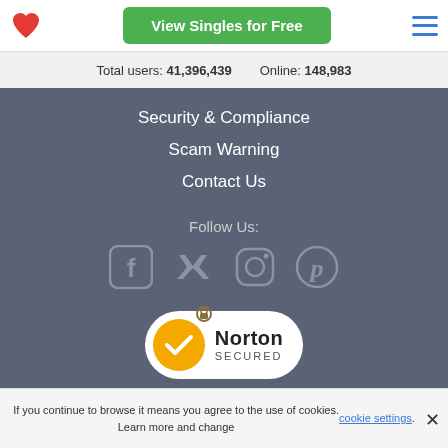View Singles for Free
Total users: 41,396,439   Online: 148,983
Security & Compliance
Scam Warning
Contact Us
Follow Us:
[Figure (illustration): Social media icons: Facebook, Twitter, Instagram, Pinterest]
[Figure (logo): Norton Secured powered by Symantec badge]
powered by Symantec
If you continue to browse it means you agree to the use of cookies. Learn more and change cookie settings.